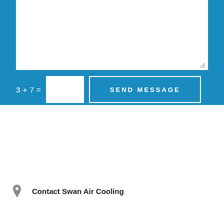[Figure (screenshot): Web contact form partial view: blue background with white textarea (message input box) at top, captcha math equation '3 + 7 =' with blank white input box, and a 'SEND MESSAGE' button with white border on blue background.]
3 + 7 =
SEND MESSAGE
Contact Swan Air Cooling